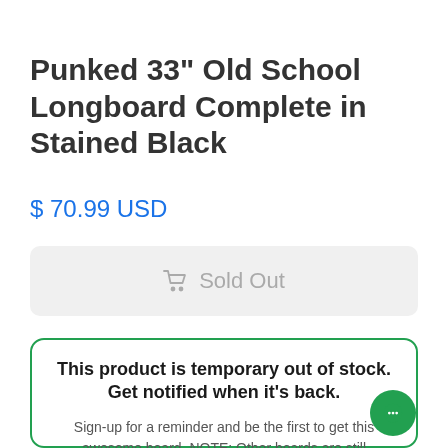Punked 33" Old School Longboard Complete in Stained Black
$ 70.99 USD
🛒 Sold Out
This product is temporary out of stock. Get notified when it's back.
Sign-up for a reminder and be the first to get this awesome board. NOTE: Other boards are still available, so check out the rest of the